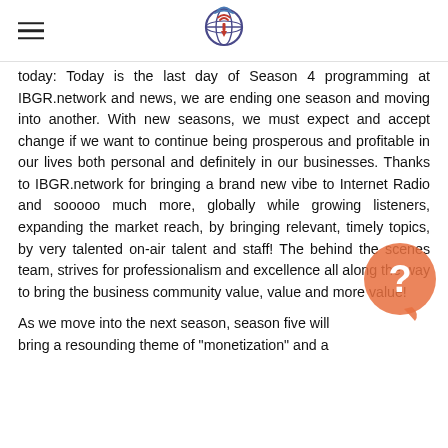IBGR.network logo and navigation
today: Today is the last day of Season 4 programming at IBGR.network and news, we are ending one season and moving into another. With new seasons, we must expect and accept change if we want to continue being prosperous and profitable in our lives both personal and definitely in our businesses. Thanks to IBGR.network for bringing a brand new vibe to Internet Radio and sooooo much more, globally while growing listeners, expanding the market reach, by bringing relevant, timely topics, by very talented on-air talent and staff! The behind the scenes team, strives for professionalism and excellence all along the way to bring the business community value, value and more value!
As we move into the next season, season five will bring a resounding theme of "monetization" and a